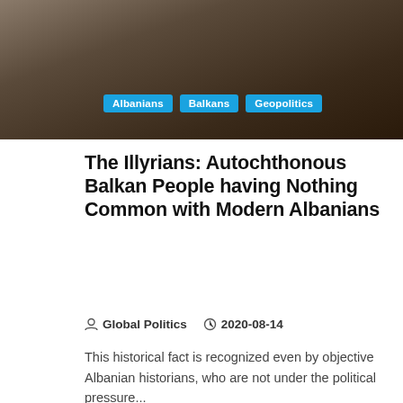[Figure (photo): Dark nature/foliage background image at top of page with category tags overlaid]
Albanians
Balkans
Geopolitics
The Illyrians: Autochthonous Balkan People having Nothing Common with Modern Albanians
Global Politics   2020-08-14
This historical fact is recognized even by objective Albanian historians, who are not under the political pressure...
CONTINUE READING
[Figure (photo): Cityscape silhouette against cloudy sky at bottom of page with 1 MIN READ badge and Share/Save button]